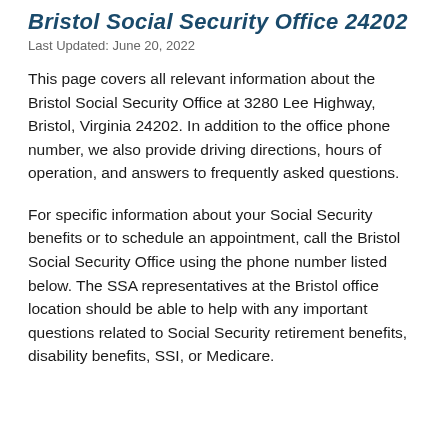Bristol Social Security Office 24202
Last Updated: June 20, 2022
This page covers all relevant information about the Bristol Social Security Office at 3280 Lee Highway, Bristol, Virginia 24202. In addition to the office phone number, we also provide driving directions, hours of operation, and answers to frequently asked questions.
For specific information about your Social Security benefits or to schedule an appointment, call the Bristol Social Security Office using the phone number listed below. The SSA representatives at the Bristol office location should be able to help with any important questions related to Social Security retirement benefits, disability benefits, SSI, or Medicare.